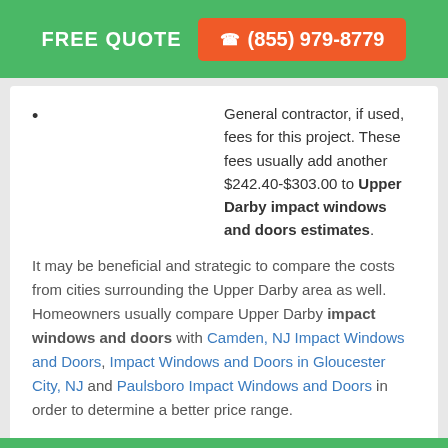FREE QUOTE  (855) 979-8779
General contractor, if used, fees for this project. These fees usually add another $242.40-$303.00 to Upper Darby impact windows and doors estimates.
It may be beneficial and strategic to compare the costs from cities surrounding the Upper Darby area as well. Homeowners usually compare Upper Darby impact windows and doors with Camden, NJ Impact Windows and Doors, Impact Windows and Doors in Gloucester City, NJ and Paulsboro Impact Windows and Doors in order to determine a better price range.
Last Update: Jun 20, 2022